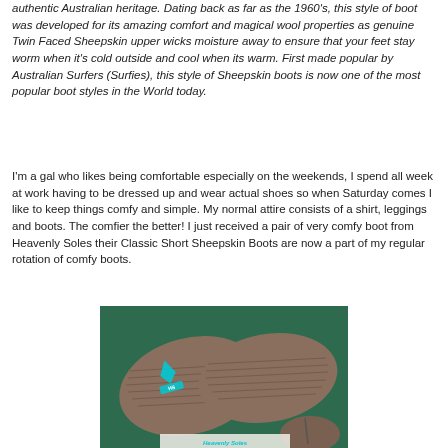authentic Australian heritage. Dating back as far as the 1960's, this style of boot was developed for its amazing comfort and magical wool properties as genuine Twin Faced Sheepskin upper wicks moisture away to ensure that your feet stay worm when it's cold outside and cool when its warm. First made popular by Australian Surfers (Surfies), this style of Sheepskin boots is now one of the most popular boot styles in the World today.
I'm a gal who likes being comfortable especially on the weekends, I spend all week at work having to be dressed up and wear actual shoes so when Saturday comes I like to keep things comfy and simple. My normal attire consists of a shirt, leggings and boots. The comfier the better! I just received a pair of very comfy boot from Heavenly Soles their Classic Short Sheepskin Boots are now a part of my regular rotation of comfy boots.
[Figure (photo): A pair of sheepskin boots shown sole-up on a green background, with a cyan/turquoise brand logo visible on the sole.]